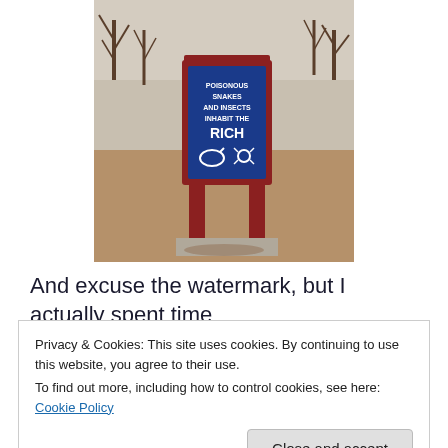[Figure (photo): A red-framed sign post in a park or field with brown ground, bare trees in background. The sign has a blue panel reading 'POISONOUS SNAKES AND INSECTS INHABIT THE RICH' with snake and spider icons.]
And excuse the watermark, but I actually spent time
Privacy & Cookies: This site uses cookies. By continuing to use this website, you agree to their use.
To find out more, including how to control cookies, see here: Cookie Policy